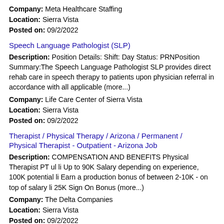Company: Meta Healthcare Staffing
Location: Sierra Vista
Posted on: 09/2/2022
Speech Language Pathologist (SLP)
Description: Position Details: Shift: Day Status: PRNPosition Summary:The Speech Language Pathologist SLP provides direct rehab care in speech therapy to patients upon physician referral in accordance with all applicable (more...)
Company: Life Care Center of Sierra Vista
Location: Sierra Vista
Posted on: 09/2/2022
Therapist / Physical Therapy / Arizona / Permanent / Physical Therapist - Outpatient - Arizona Job
Description: COMPENSATION AND BENEFITS Physical Therapist PT ul li Up to 90K Salary depending on experience, 100K potential li Earn a production bonus of between 2-10K - on top of salary li 25K Sign On Bonus (more...)
Company: The Delta Companies
Location: Sierra Vista
Posted on: 09/2/2022
Physician / Psychiatry / Arizona / Locum tenens /